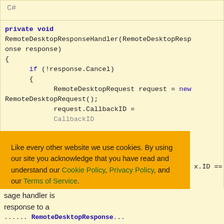[Figure (screenshot): C# code block on yellow background showing a private void RemoteDesktopResponseHandler method, partially covered by a cookie consent overlay banner. The cookie banner contains text about cookie policy, links, and three buttons: Ask me later, Decline, Allow cookies. Below the banner, partial code text and prose text about a message handler are visible.]